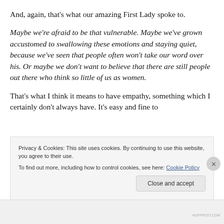And, again, that's what our amazing First Lady spoke to.
Maybe we're afraid to be that vulnerable. Maybe we've grown accustomed to swallowing these emotions and staying quiet, because we've seen that people often won't take our word over his. Or maybe we don't want to believe that there are still people out there who think so little of us as women.
That's what I think it means to have empathy, something which I certainly don't always have. It's easy and fine to
Privacy & Cookies: This site uses cookies. By continuing to use this website, you agree to their use.
To find out more, including how to control cookies, see here: Cookie Policy
Close and accept